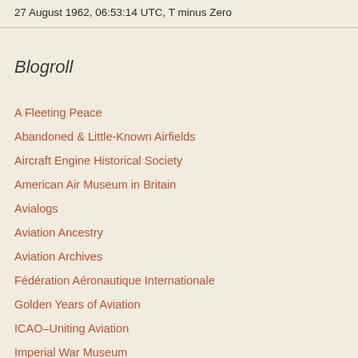27 August 1962, 06:53:14 UTC, T minus Zero
Blogroll
A Fleeting Peace
Abandoned & Little-Known Airfields
Aircraft Engine Historical Society
American Air Museum in Britain
Avialogs
Aviation Ancestry
Aviation Archives
Fédération Aéronautique Internationale
Golden Years of Aviation
ICAO – Uniting Aviation
Imperial War Museum